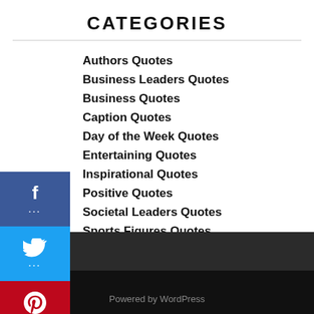CATEGORIES
Authors Quotes
Business Leaders Quotes
Business Quotes
Caption Quotes
Day of the Week Quotes
Entertaining Quotes
Inspirational Quotes
Positive Quotes
Societal Leaders Quotes
Sports Figures Quotes
Powered by WordPress